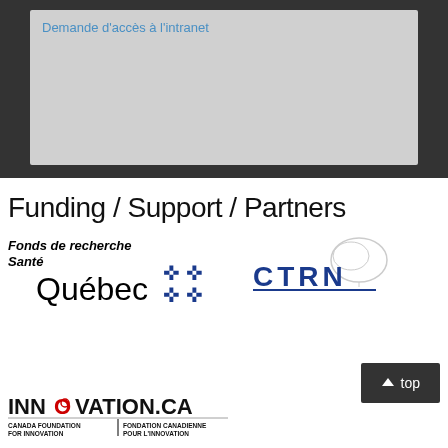[Figure (screenshot): Dark background section with a light grey content box containing a blue hyperlink text 'Demande d'accès à l'intranet']
Demande d'accès à l'intranet
Funding / Support / Partners
[Figure (logo): Fonds de recherche Santé Québec logo with fleur-de-lis symbols]
[Figure (logo): CTRN logo with brain image]
[Figure (other): Top button - dark button with upward arrow and 'top' text]
[Figure (logo): INNOVATION.CA - Canada Foundation for Innovation / Fondation Canadienne pour l'Innovation logo]